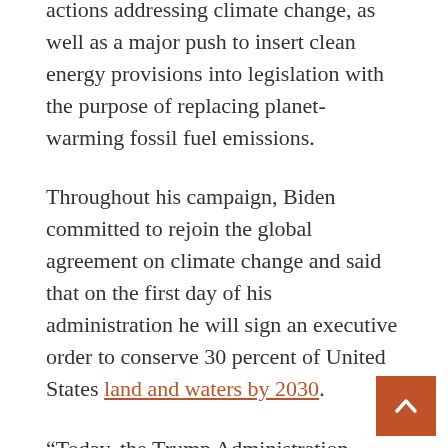actions addressing climate change, as well as a major push to insert clean energy provisions into legislation with the purpose of replacing planet-warming fossil fuel emissions.
Throughout his campaign, Biden committed to rejoin the global agreement on climate change and said that on the first day of his administration he will sign an executive order to conserve 30 percent of United States land and waters by 2030.
“Today, the Trump Administration officially left the Paris Climate Agreement. And in exactly 77 days, a Biden Administration will rejoin it,” Biden wrote on Twitter on Nov.4.
Rejoining the global agreement on climate change only requires a letter to the United Nations and it will